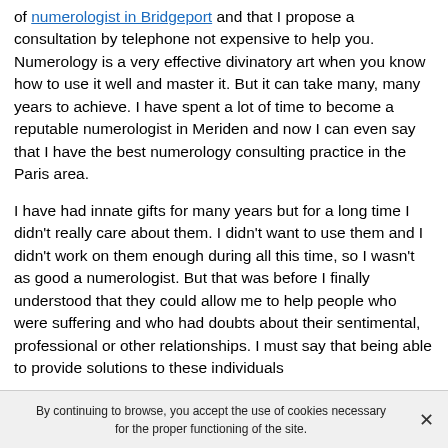of numerologist in Bridgeport and that I propose a consultation by telephone not expensive to help you. Numerology is a very effective divinatory art when you know how to use it well and master it. But it can take many, many years to achieve. I have spent a lot of time to become a reputable numerologist in Meriden and now I can even say that I have the best numerology consulting practice in the Paris area.

I have had innate gifts for many years but for a long time I didn't really care about them. I didn't want to use them and I didn't work on them enough during all this time, so I wasn't as good a numerologist. But that was before I finally understood that they could allow me to help people who were suffering and who had doubts about their sentimental, professional or other relationships. I must say that being able to provide solutions to these individuals
By continuing to browse, you accept the use of cookies necessary for the proper functioning of the site.